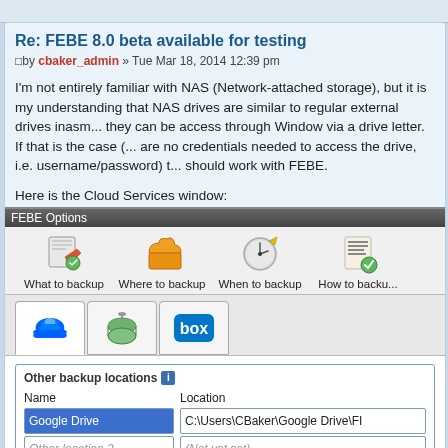Re: FEBE 8.0 beta available for testing
by cbaker_admin » Tue Mar 18, 2014 12:39 pm
I'm not entirely familiar with NAS (Network-attached storage), but it is my understanding that NAS drives are similar to regular external drives inasmuch they can be access through Window via a drive letter. If that is the case (there are no credentials needed to access the drive, i.e. username/password) t... should work with FEBE.
Here is the Cloud Services window:
[Figure (screenshot): FEBE Options window showing Cloud Services backup configuration with tabs for What to backup, Where to backup, When to backup, How to backup. Three service tabs shown: Dropbox, network drive, and Box. Other backup locations section shows Name field with Google Drive and Location field with C:\Users\CBaker\Google Drive\FI, and a second row with Other location 2 placeholder and (Not yet set) placeholder.]